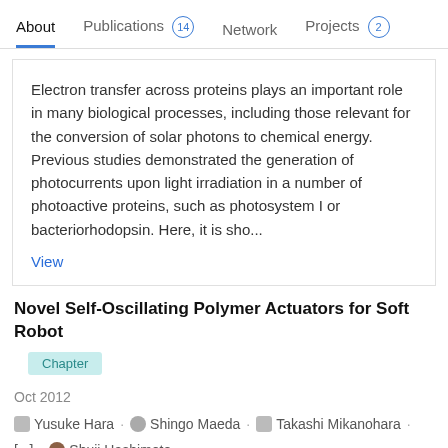About  Publications 14  Network  Projects 2
Electron transfer across proteins plays an important role in many biological processes, including those relevant for the conversion of solar photons to chemical energy. Previous studies demonstrated the generation of photocurrents upon light irradiation in a number of photoactive proteins, such as photosystem I or bacteriorhodopsin. Here, it is sho...
View
Novel Self-Oscillating Polymer Actuators for Soft Robot
Chapter
Oct 2012
Yusuke Hara · Shingo Maeda · Takashi Mikanohara · [...] · Shuji Hashimoto
For coupling pH-responsive gels and the CT reaction, it is quite important to achieve large volume changes of the gels, because the stabilities of the steady states depend on the gel sizes. Also, the speed of volume change has a high correlation with the